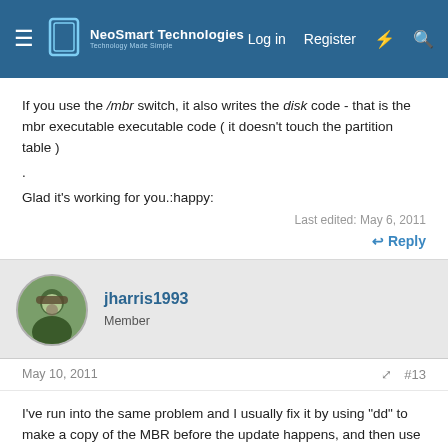NeoSmart Technologies | Log in | Register
If you use the /mbr switch, it also writes the disk code - that is the mbr executable executable code ( it doesn't touch the partition table )
.
Glad it's working for you.:happy:
Last edited: May 6, 2011
Reply
jharris1993
Member
May 10, 2011
#13
I've run into the same problem and I usually fix it by using "dd" to make a copy of the MBR before the update happens, and then use "dd" again to replace it after the updates are done, but before I reboot the box.